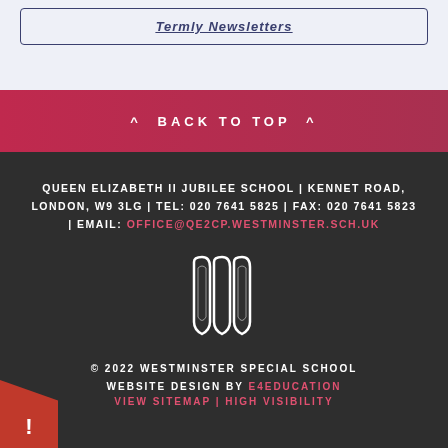Termly Newsletters
^ BACK TO TOP ^
QUEEN ELIZABETH II JUBILEE SCHOOL | KENNET ROAD, LONDON, W9 3LG | TEL: 020 7641 5825 | FAX: 020 7641 5823 | EMAIL: OFFICE@QE2CP.WESTMINSTER.SCH.UK
[Figure (logo): School logo - stylized white outline of two overlapping shield/leaf shapes on dark background]
© 2022 WESTMINSTER SPECIAL SCHOOL WEBSITE DESIGN BY E4EDUCATION VIEW SITEMAP | HIGH VISIBILITY